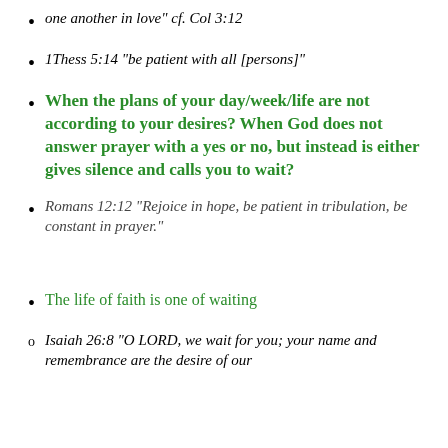one another in love" cf. Col 3:12
1Thess 5:14 "be patient with all [persons]"
When the plans of your day/week/life are not according to your desires? When God does not answer prayer with a yes or no, but instead is either gives silence and calls you to wait?
Romans 12:12 "Rejoice in hope, be patient in tribulation, be constant in prayer."
The life of faith is one of waiting
Isaiah 26:8 "O LORD, we wait for you; your name and remembrance are the desire of our